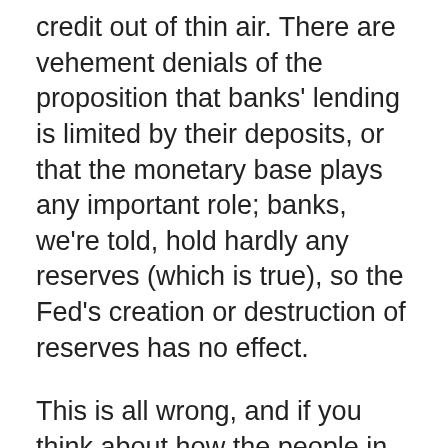credit out of thin air. There are vehement denials of the proposition that banks' lending is limited by their deposits, or that the monetary base plays any important role; banks, we're told, hold hardly any reserves (which is true), so the Fed's creation or destruction of reserves has no effect.
This is all wrong, and if you think about how the people in your story are assumed to behave — as opposed to getting bogged down in abstract algebra — it should be obvious that it's all wrong.